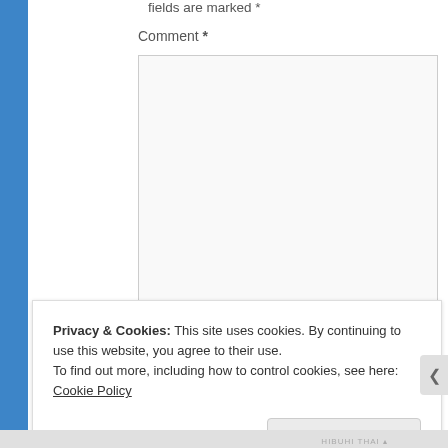fields are marked *
Comment *
[Figure (screenshot): Empty comment textarea input box with resize handle]
Name *
Privacy & Cookies: This site uses cookies. By continuing to use this website, you agree to their use.
To find out more, including how to control cookies, see here: Cookie Policy
Close and accept